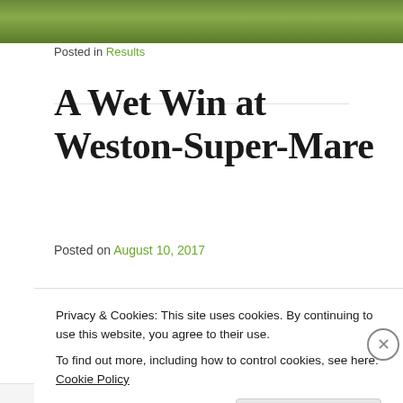[Figure (photo): Top portion of an outdoor photo, appears to show sports/recreation on grass]
Posted in Results
A Wet Win at Weston-Super-Mare
Posted on August 10, 2017
[Figure (photo): Partial view of what appears to be a golf ball or sports equipment, light grey tones]
Privacy & Cookies: This site uses cookies. By continuing to use this website, you agree to their use.
To find out more, including how to control cookies, see here: Cookie Policy
Close and accept